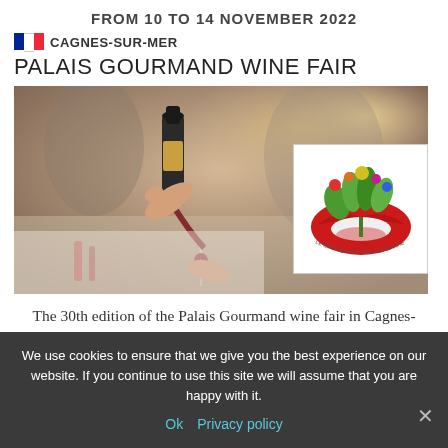FROM 10 TO 14 NOVEMBER 2022
CAGNES-SUR-MER
PALAIS GOURMAND WINE FAIR
[Figure (photo): Person pouring red wine into a glass at a wine fair event, with a logo overlay (Palais Gourmand wine fair logo with red lips and colorful plants illustration)]
The 30th edition of the Palais Gourmand wine fair in Cagnes-sur-Mer will take place from 10 to
We use cookies to ensure that we give you the best experience on our website. If you continue to use this site we will assume that you are happy with it.
Ok  Privacy policy